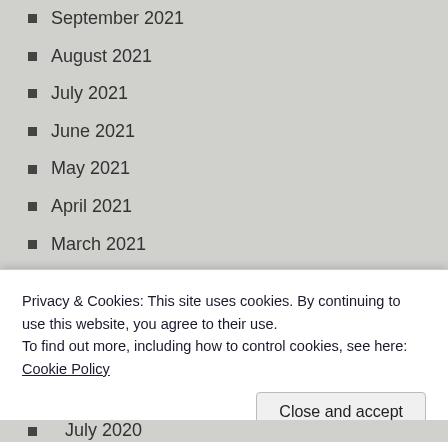September 2021
August 2021
July 2021
June 2021
May 2021
April 2021
March 2021
February 2021
January 2021
December 2020
Privacy & Cookies: This site uses cookies. By continuing to use this website, you agree to their use.
To find out more, including how to control cookies, see here: Cookie Policy
July 2020